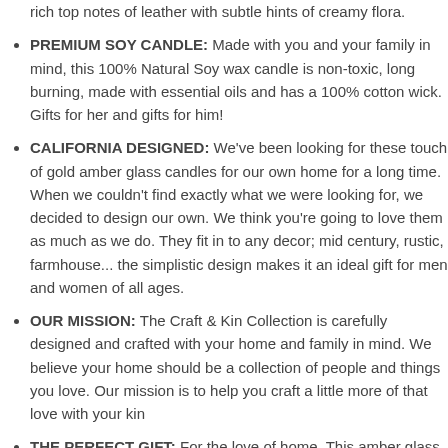rich top notes of leather with subtle hints of creamy flora.
PREMIUM SOY CANDLE: Made with you and your family in mind, this 100% Natural Soy wax candle is non-toxic, long burning, made with essential oils and has a 100% cotton wick. Gifts for her and gifts for him!
CALIFORNIA DESIGNED: We've been looking for these touch of gold amber glass candles for our own home for a long time. When we couldn't find exactly what we were looking for, we decided to design our own. We think you're going to love them as much as we do. They fit in to any decor; mid century, rustic, farmhouse... the simplistic design makes it an ideal gift for men and women of all ages.
OUR MISSION: The Craft & Kin Collection is carefully designed and crafted with your home and family in mind. We believe your home should be a collection of people and things you love. Our mission is to help you craft a little more of that love with your kin
THE PERFECT GIFT: For the love of home. This amber glass